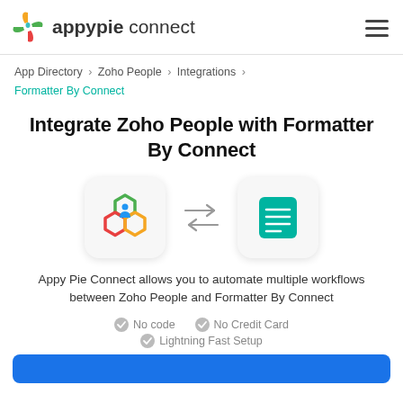appypie connect
App Directory > Zoho People > Integrations > Formatter By Connect
Integrate Zoho People with Formatter By Connect
[Figure (illustration): Zoho People logo icon on left, bidirectional arrows in center, Formatter By Connect teal document icon on right]
Appy Pie Connect allows you to automate multiple workflows between Zoho People and Formatter By Connect
No code
No Credit Card
Lightning Fast Setup